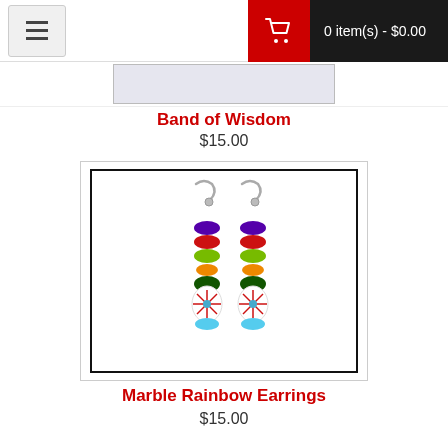0 item(s) - $0.00
Band of Wisdom
$15.00
[Figure (photo): Marble Rainbow Earrings — a pair of dangle earrings with stacked colorful beads (purple, red, green, orange, dark green) and a decorative white bead with a starburst pattern, plus a light blue bead at the bottom, on silver fish-hook wires.]
Marble Rainbow Earrings
$15.00